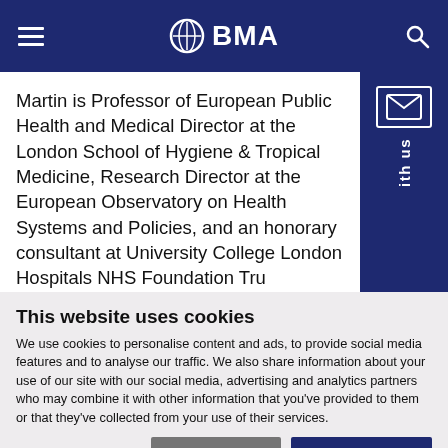BMA
Martin is Professor of European Public Health and Medical Director at the London School of Hygiene & Tropical Medicine, Research Director at the European Observatory on Health Systems and Policies, and an honorary consultant at University College London Hospitals NHS Foundation Trust
This website uses cookies
We use cookies to personalise content and ads, to provide social media features and to analyse our traffic. We also share information about your use of our site with our social media, advertising and analytics partners who may combine it with other information that you've provided to them or that they've collected from your use of their services.
Allow selection | Allow all cookies
Necessary | Preferences | Statistics | Marketing | Show details | Feedback